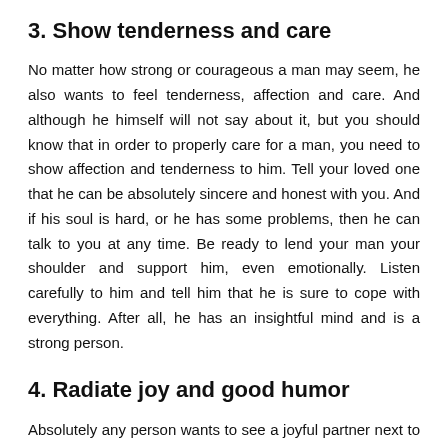3. Show tenderness and care
No matter how strong or courageous a man may seem, he also wants to feel tenderness, affection and care. And although he himself will not say about it, but you should know that in order to properly care for a man, you need to show affection and tenderness to him. Tell your loved one that he can be absolutely sincere and honest with you. And if his soul is hard, or he has some problems, then he can talk to you at any time. Be ready to lend your man your shoulder and support him, even emotionally. Listen carefully to him and tell him that he is sure to cope with everything. After all, he has an insightful mind and is a strong person.
4. Radiate joy and good humor
Absolutely any person wants to see a joyful partner next to him who radiates a smile and a positive mood. Therefore, if you want to learn how to properly care for a man, then you need to maintain a positive attitude towards life and towards your relationships. Meet your boyfriend with a smile and a good